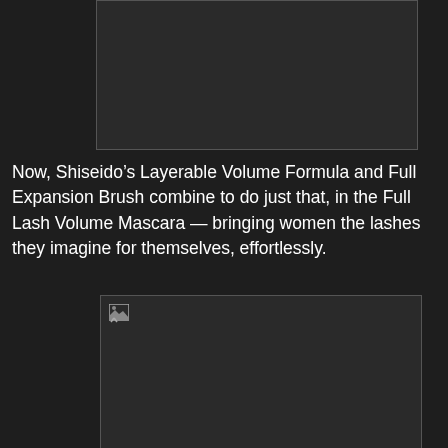[Figure (photo): Dark placeholder image at top of page, centered with margin on left]
Now, Shiseido’s Layerable Volume Formula and Full Expansion Brush combine to do just that, in the Full Lash Volume Mascara — bringing women the lashes they imagine for themselves, effortlessly.
[Figure (photo): Dark placeholder image at bottom of page with broken image icon visible in top-left corner]